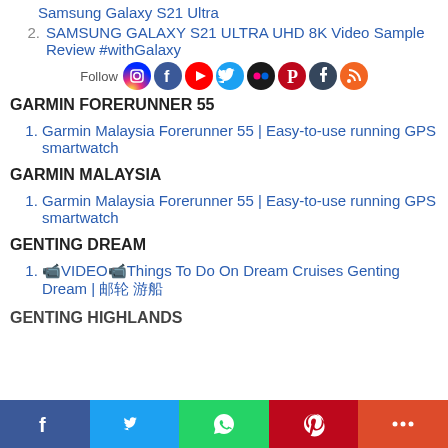Samsung Galaxy S21 Ultra
SAMSUNG GALAXY S21 ULTRA UHD 8K Video Sample Review #withGalaxy
[Figure (infographic): Social media follow icons: Instagram, Facebook, YouTube, Twitter, Flickr, Pinterest, Tumblr, RSS]
GARMIN FORERUNNER 55
Garmin Malaysia Forerunner 55 | Easy-to-use running GPS smartwatch
GARMIN MALAYSIA
Garmin Malaysia Forerunner 55 | Easy-to-use running GPS smartwatch
GENTING DREAM
📹VIDEO📹Things To Do On Dream Cruises Genting Dream | 邮轮 游船
GENTING HIGHLANDS
[Figure (infographic): Bottom share bar with Facebook (blue), Twitter (blue), WhatsApp (green), Pinterest (red), More (orange-red) buttons]